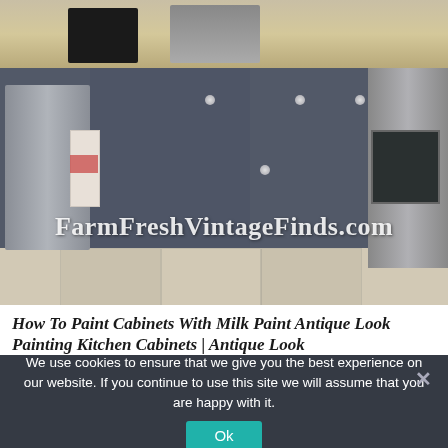[Figure (photo): Kitchen photo showing dark gray painted lower cabinets with silver knobs, stainless steel dishwasher on the left with a red and white towel hanging on the handle, stainless steel oven/range on the right, granite countertop, tile backsplash, and tile floor. A watermark reads 'FarmFreshVintageFinds.com' in white serif text overlaid on the lower part of the image.]
How To Paint Cabinets With Milk Paint Antique Look Painting Kitchen Cabinets | Antique Look
We use cookies to ensure that we give you the best experience on our website. If you continue to use this site we will assume that you are happy with it.